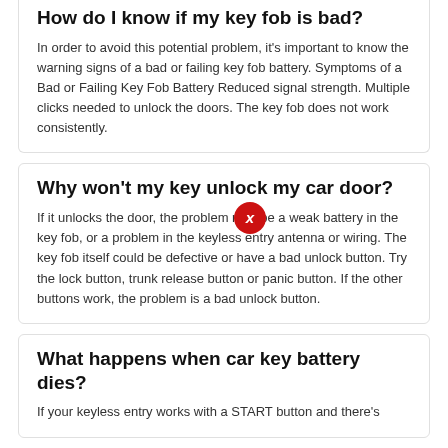How do I know if my key fob is bad?
In order to avoid this potential problem, it's important to know the warning signs of a bad or failing key fob battery. Symptoms of a Bad or Failing Key Fob Battery Reduced signal strength. Multiple clicks needed to unlock the doors. The key fob does not work consistently.
Why won't my key unlock my car door?
If it unlocks the door, the problem may be a weak battery in the key fob, or a problem in the keyless entry antenna or wiring. The key fob itself could be defective or have a bad unlock button. Try the lock button, trunk release button or panic button. If the other buttons work, the problem is a bad unlock button.
What happens when car key battery dies?
If your keyless entry works with a START button and there's